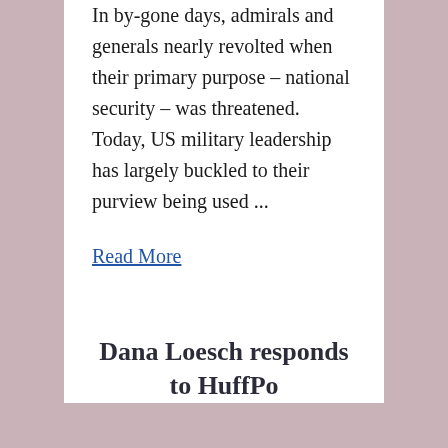In by-gone days, admirals and generals nearly revolted when their primary purpose – national security – was threatened. Today, US military leadership has largely buckled to their purview being used ...
Read More
Dana Loesch responds to HuffPo